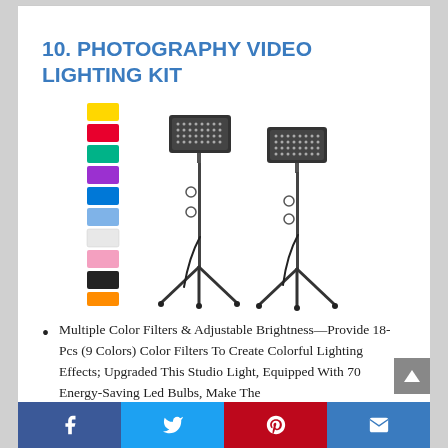10. PHOTOGRAPHY VIDEO LIGHTING KIT
[Figure (photo): Photography video lighting kit product image showing two LED studio lights on tripod stands with color filter swatches (yellow, red, teal/green, purple, blue, light blue, white, pink, black, orange) arranged vertically on the left side.]
Multiple Color Filters & Adjustable Brightness—Provide 18-Pcs (9 Colors) Color Filters To Create Colorful Lighting Effects; Upgraded This Studio Light, Equipped With 70 Energy-Saving Led Bulbs, Make The